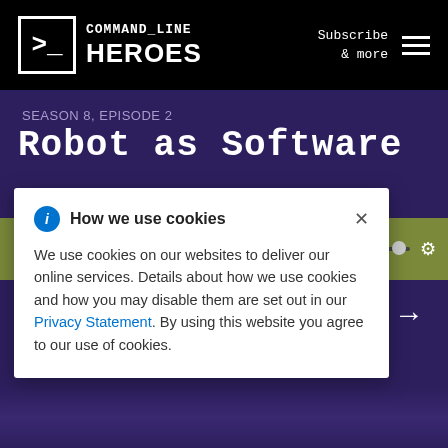COMMAND_LINE HEROES
Subscribe & more
SEASON 8, EPISODE 2
Robot as Software
How we use cookies
We use cookies on our websites to deliver our online services. Details about how we use cookies and how you may disable them are set out in our Privacy Statement. By using this website you agree to our use of cookies.